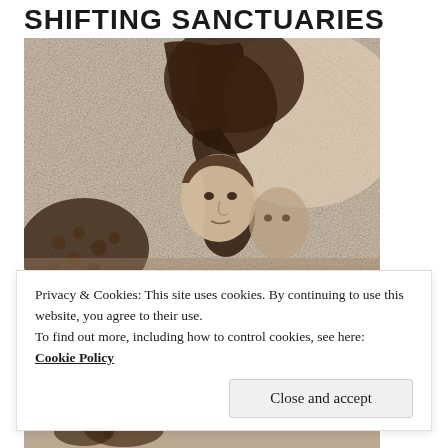SHIFTING SANCTUARIES
[Figure (illustration): A sepia-toned etching or engraving depicting a woman with curly hair looking forward, a large dark creature or figure with claws raised above her head, and another partially visible face behind her. The background has a textured, sketchy appearance.]
Privacy & Cookies: This site uses cookies. By continuing to use this website, you agree to their use.
To find out more, including how to control cookies, see here:
Cookie Policy
[Figure (illustration): Partial view of another sepia-toned illustration at the bottom of the page, partially obscured.]